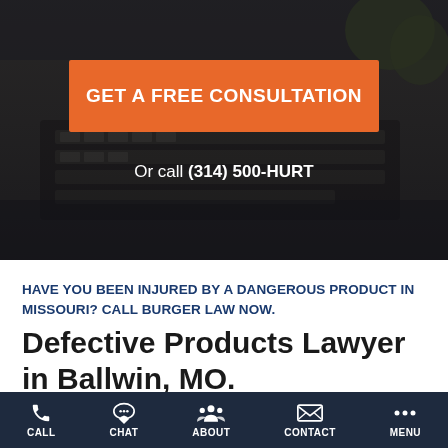[Figure (photo): Dark background photo showing a desk with keyboard and office equipment, used as hero background for a law firm website]
GET A FREE CONSULTATION
Or call (314) 500-HURT
HAVE YOU BEEN INJURED BY A DANGEROUS PRODUCT IN MISSOURI? CALL BURGER LAW NOW.
Defective Products Lawyer in Ballwin, MO.
CALL  CHAT  ABOUT  CONTACT  MENU